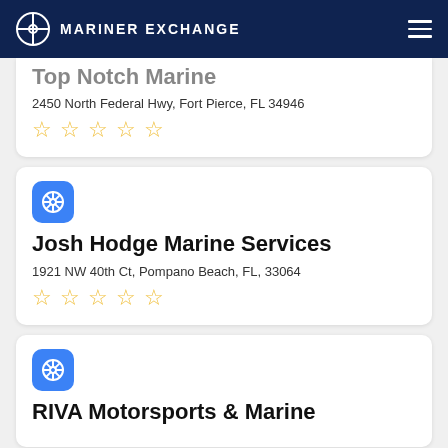MARINER EXCHANGE
Top Notch Marine
2450 North Federal Hwy, Fort Pierce, FL 34946
[Figure (other): 5 empty star rating icons]
[Figure (other): Blue rounded square icon with ship wheel]
Josh Hodge Marine Services
1921 NW 40th Ct, Pompano Beach, FL, 33064
[Figure (other): 5 empty star rating icons]
[Figure (other): Blue rounded square icon with ship wheel]
RIVA Motorsports & Marine